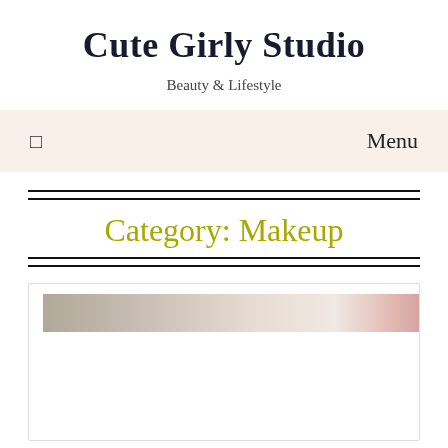Cute Girly Studio
Beauty & Lifestyle
Menu
Category: Makeup
[Figure (photo): A partial image strip showing a beauty/makeup photo collage with soft tones, flowers, and makeup products]